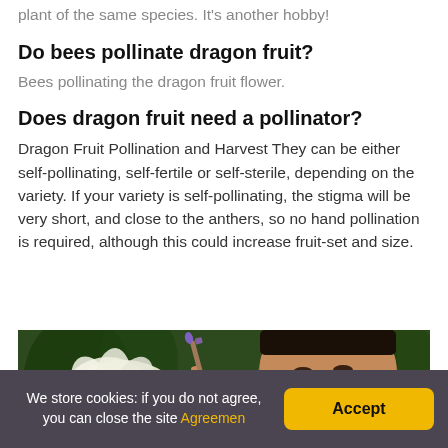plant of the same species. It's another hobby!
Do bees pollinate dragon fruit?
Bees pollinating the dragon fruit flower.
Does dragon fruit need a pollinator?
Dragon Fruit Pollination and Harvest They can be either self-pollinating, self-fertile or self-sterile, depending on the variety. If your variety is self-pollinating, the stigma will be very short, and close to the anthers, so no hand pollination is required, although this could increase fruit-set and size.
[Figure (photo): A person hand-pollinating a white dragon fruit flower using a small brush, with green dragon fruit plants in the background.]
We store cookies: if you do not agree, you can close the site Agreemen